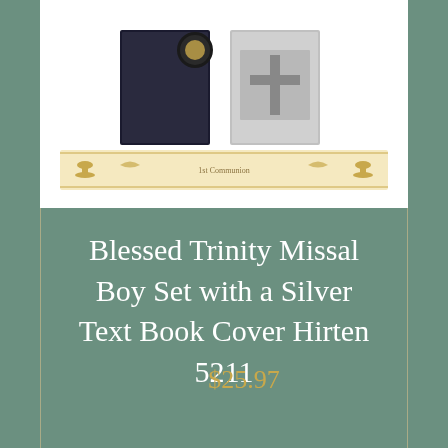[Figure (photo): Product photo of Blessed Trinity Missal Boy Set with Silver Text Book Cover, shown against white background with decorative communion imagery including chalices and ornamental border]
Blessed Trinity Missal Boy Set with a Silver Text Book Cover Hirten 5211
$25.97